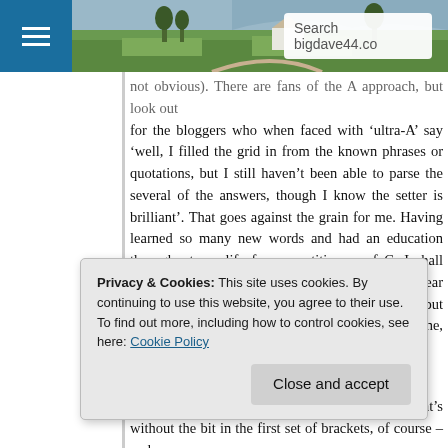bigdave44.co [Search bar] [Menu]
not obvious). There are fans of the A approach, but look out for the bloggers who when faced with ‘ultra-A’ say ‘well, I filled the grid in from the known phrases or quotations, but I still haven’t been able to parse the several of the answers, though I know the setter is brilliant’. That goes against the grain for me. Having learned so many new words and had an education throughout my life from practitioners of C, I shall favour that approach. I duly expect to hear continuing grumbles from those who don’t like it, but I hope to keep some solvers happy some of the time, at least.
Privacy & Cookies: This site uses cookies. By continuing to use this website, you agree to their use.
To find out more, including how to control cookies, see here: Cookie Policy
Close and accept
fans of the A approach for harder crosswords. That’s without the bit in the first set of brackets, of course – and